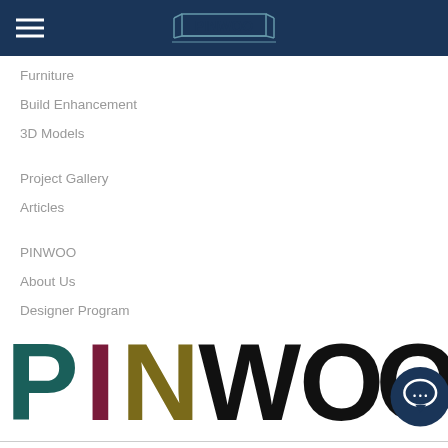PINWOO — Navigation header with hamburger menu and logo
Furniture
Build Enhancement
3D Models
Project Gallery
Articles
PINWOO
About Us
Designer Program
[Figure (logo): PINWOO text logo in large multicolored letters: P (teal), I (maroon), N (olive/gold), W (black), O (black), O (black) with a dark blue chat button overlapping the last O]